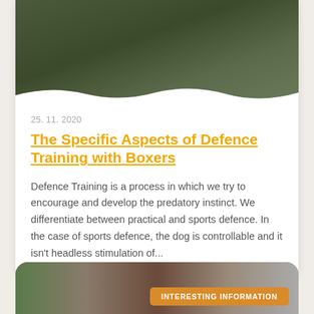[Figure (photo): Dogs during defence training on grass, with a trainer's legs visible in the background]
25. 11. 2020
The Specific Aspects of Defence Training with Boxers
Defence Training is a process in which we try to encourage and develop the predatory instinct. We differentiate between practical and sports defence. In the case of sports defence, the dog is controllable and it isn't headless stimulation of...
[Figure (photo): Bottom card showing an outdoor scene with a badge reading INTERESTING INFORMATION]